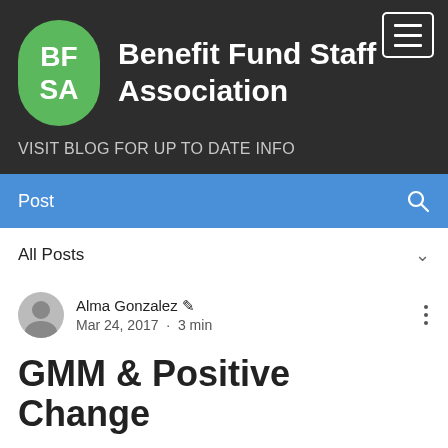[Figure (screenshot): Dark header with hamburger menu button (three horizontal lines in a bordered rectangle) in top-right corner]
[Figure (logo): Green oval logo with white text 'BF SA' representing Benefit Fund Staff Association]
Benefit Fund Staff Association
VISIT BLOG FOR UP TO DATE INFO
Post
All Posts
Alma Gonzalez · Mar 24, 2017 · 3 min
GMM & Positive Change